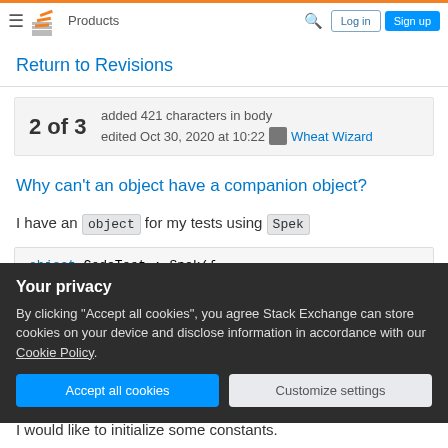≡ [Stack Overflow logo] Products 🔍 Log in Sign up
Return to Revisions
2 of 3 — added 421 characters in body — edited Oct 30, 2020 at 10:22 Wheat Wizard
Why can't an object have a companion object?
I have an object for my tests using Spek
object CodeTest : Spek({
Your privacy
By clicking "Accept all cookies", you agree Stack Exchange can store cookies on your device and disclose information in accordance with our Cookie Policy.
Accept all cookies   Customize settings
I would like to initialize some constants.